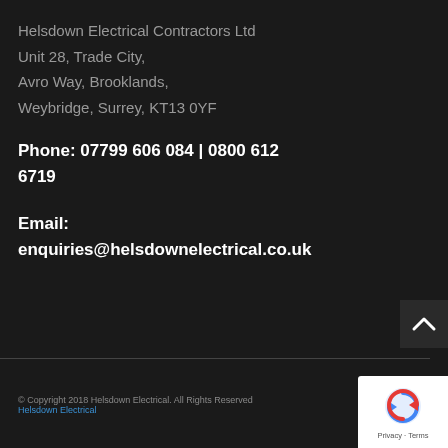Helsdown Electrical Contractors Ltd
Unit 28, Trade City,
Avro Way, Brooklands,
Weybridge, Surrey, KT13 0YF
Phone: 07799 606 084 | 0800 612 6719
Email: enquiries@helsdownelectrical.co.uk
© Copyright 2018 Helsdown Electrical. All Rights Reserved
Helsdown Electrical